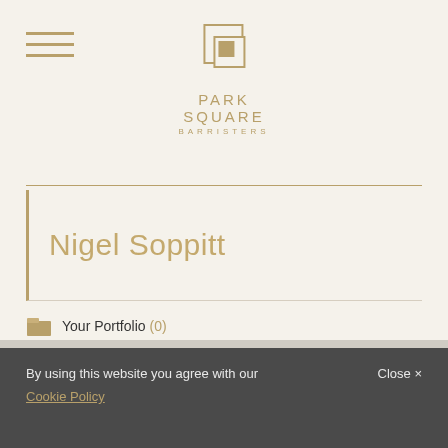[Figure (logo): Park Square Barristers logo with two overlapping squares icon above the text PARK SQUARE BARRISTERS]
Nigel Soppitt
Your Portfolio (0)
Add barrister to portfolio
Download CV
By using this website you agree with our Cookie Policy  Close ×